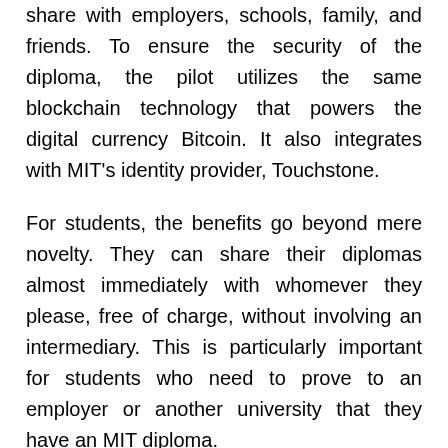share with employers, schools, family, and friends. To ensure the security of the diploma, the pilot utilizes the same blockchain technology that powers the digital currency Bitcoin. It also integrates with MIT's identity provider, Touchstone.
For students, the benefits go beyond mere novelty. They can share their diplomas almost immediately with whomever they please, free of charge, without involving an intermediary. This is particularly important for students who need to prove to an employer or another university that they have an MIT diploma.
And thanks to the blockchain, the third party can